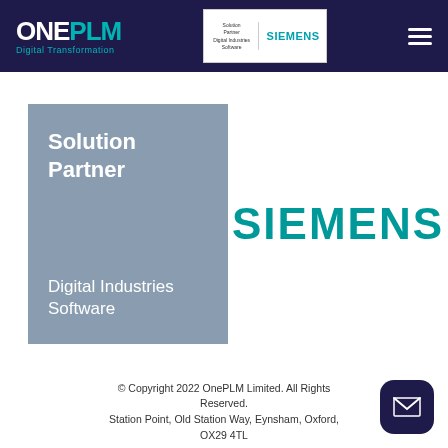ONE PLM Digital Transformation | Siemens Solution Partner
[Figure (logo): Solution Partner Digital Industries Software badge with Siemens logo on gray background]
[Figure (logo): SIEMENS large teal logo text]
© Copyright 2022 OnePLM Limited. All Rights Reserved. Station Point, Old Station Way, Eynsham, Oxford, OX29 4TL